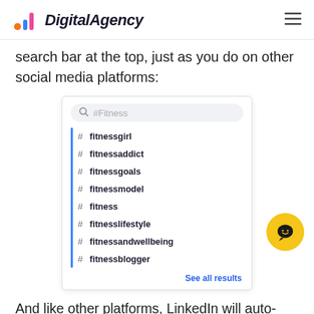DigitalAgency
search bar at the top, just as you do on other social media platforms:
[Figure (screenshot): A LinkedIn search bar UI showing '#Fitness' typed in the search field, with a dropdown list of hashtag suggestions: #fitnessgirl, #fitnessaddict, #fitnessgoals, #fitnessmodel, #fitness, #fitnesslifestyle, #fitnessandwellbeing, #fitnessblogger, and a 'See all results' link at the bottom right.]
And like other platforms, LinkedIn will auto-recommend other options.
When you choose a hashtag, LinkedIn